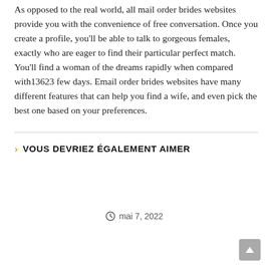As opposed to the real world, all mail order brides websites provide you with the convenience of free conversation. Once you create a profile, you'll be able to talk to gorgeous females, exactly who are eager to find their particular perfect match. You'll find a woman of the dreams rapidly when compared with13623 few days. Email order brides websites have many different features that can help you find a wife, and even pick the best one based on your preferences.
VOUS DEVRIEZ ÉGALEMENT AIMER
mai 7, 2022